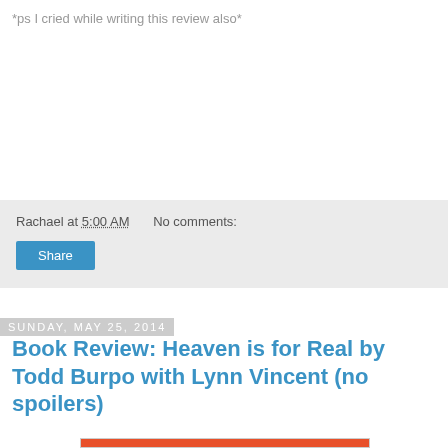*ps I cried while writing this review also*
Rachael at 5:00 AM    No comments:
Share
Sunday, May 25, 2014
Book Review: Heaven is for Real by Todd Burpo with Lynn Vincent (no spoilers)
[Figure (other): Partial image visible at bottom of page, orange/red colored strip]